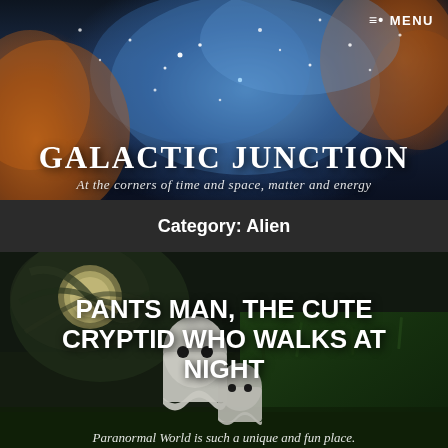[Figure (illustration): Space nebula background with orange and blue cosmic clouds and stars — website header banner for Galactic Junction]
≡•MENU
GALACTIC JUNCTION
At the corners of time and space, matter and energy
Category: Alien
[Figure (illustration): Two ghost-like cryptid figures (white, rounded, with dark eyes) standing on grass under a swirling night sky with a moon — article thumbnail image]
PANTS MAN, THE CUTE CRYPTID WHO WALKS AT NIGHT
Paranormal World is such a unique and fun place.